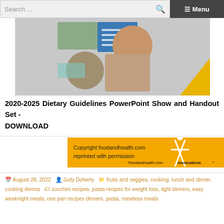Search ...  ☰ Menu
[Figure (photo): Collage of people cooking and preparing food, related to Dietary Guidelines, with a yellow triangle accent in the bottom right corner]
2020-2025 Dietary Guidelines PowerPoint Show and Handout Set – DOWNLOAD
[Figure (other): Orange banner with text: Copyright foodandhealth.com reprinted with permission. Logo: *foodandhealth.communications*]
August 28, 2022  Judy Doherty  fruits and veggies, cooking, lunch and dinner, cooking demos  zucchini recipes, pasta recipes for weight loss, light dinners, easy weeknight meals, one pan recipes dinners, pasta, meatless meals